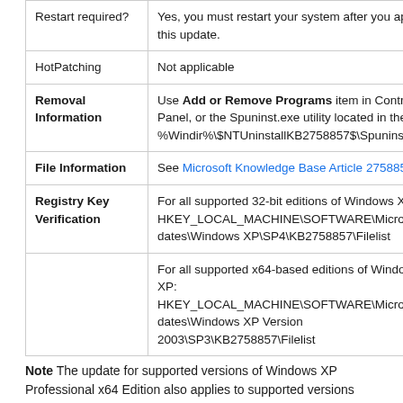| Restart required? | Yes, you must restart your system after you apply this update. |
| HotPatching | Not applicable |
| Removal Information | Use Add or Remove Programs item in Control Panel, or the Spuninst.exe utility located in the %Windir%\$NTUninstallKB2758857$\Spuninst folder |
| File Information | See Microsoft Knowledge Base Article 2758857 |
| Registry Key Verification | For all supported 32-bit editions of Windows XP: HKEY_LOCAL_MACHINE\SOFTWARE\Microsoft\Updates\Windows XP\SP4\KB2758857\Filelist |
|  | For all supported x64-based editions of Windows XP: HKEY_LOCAL_MACHINE\SOFTWARE\Microsoft\Updates\Windows XP Version 2003\SP3\KB2758857\Filelist |
Note The update for supported versions of Windows XP Professional x64 Edition also applies to supported versions